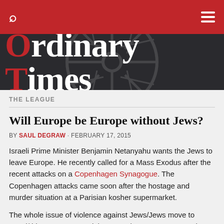Ordinary Times
THE LEAGUE
Will Europe be Europe without Jews?
BY SAUL DEGRAW · FEBRUARY 17, 2015
Israeli Prime Minister Benjamin Netanyahu wants the Jews to leave Europe. He recently called for a Mass Exodus after the recent attacks on a Copenhagen Synagogue. The Copenhagen attacks came soon after the hostage and murder situation at a Parisian kosher supermarket.
The whole issue of violence against Jews/Jews move to Israel/this causes more violence against Jews seems to be a cycle that is unbreakable for the foreseeable future.